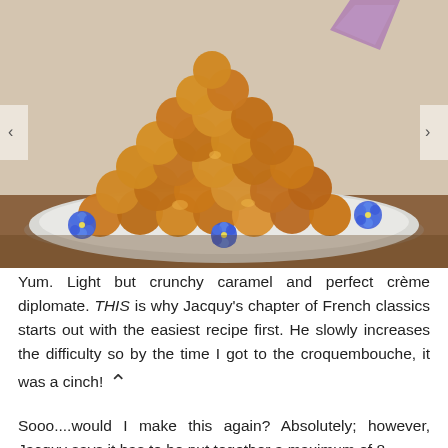[Figure (photo): A croquembouche — a tower of caramel-glazed cream puffs stacked on a white plate, decorated with blue flowers (borage), with a purple decorative element at the top. Wooden table background visible.]
Yum. Light but crunchy caramel and perfect crème diplomate. THIS is why Jacquy's chapter of French classics starts out with the easiest recipe first. He slowly increases the difficulty so by the time I got to the croquembouche, it was a cinch!
Sooo....would I make this again? Absolutely; however, Jacquy says it has to be put together a maximum of 8